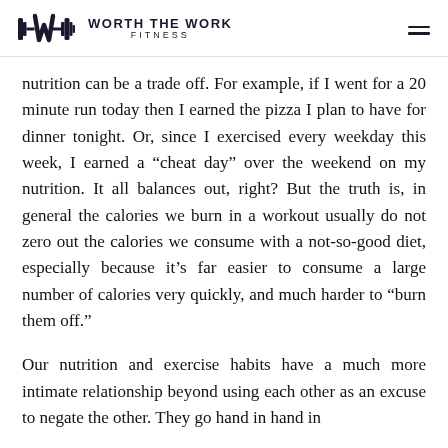WORTH THE WORK FITNESS
nutrition can be a trade off. For example, if I went for a 20 minute run today then I earned the pizza I plan to have for dinner tonight. Or, since I exercised every weekday this week, I earned a “cheat day” over the weekend on my nutrition. It all balances out, right? But the truth is, in general the calories we burn in a workout usually do not zero out the calories we consume with a not-so-good diet, especially because it’s far easier to consume a large number of calories very quickly, and much harder to “burn them off.”
Our nutrition and exercise habits have a much more intimate relationship beyond using each other as an excuse to negate the other. They go hand in hand in